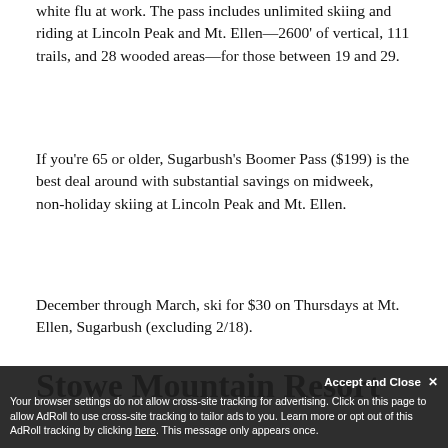white flu at work. The pass includes unlimited skiing and riding at Lincoln Peak and Mt. Ellen—2600' of vertical, 111 trails, and 28 wooded areas—for those between 19 and 29.
If you're 65 or older, Sugarbush's Boomer Pass ($199) is the best deal around with substantial savings on midweek, non-holiday skiing at Lincoln Peak and Mt. Ellen.
December through March, ski for $30 on Thursdays at Mt. Ellen, Sugarbush (excluding 2/18).
Stowe Mountain Resort
Your browser settings do not allow cross-site tracking for advertising. Click on this page to allow AdRoll to use cross-site tracking to tailor ads to you. Learn more or opt out of this AdRoll tracking by clicking here. This message only appears once.